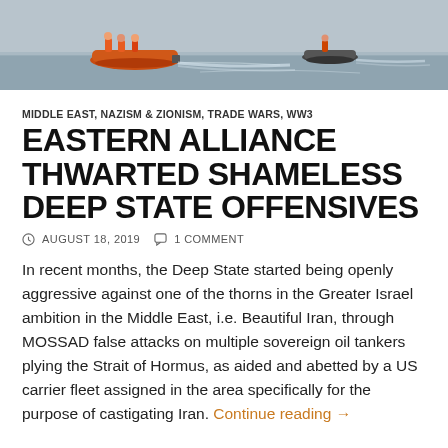[Figure (photo): Two boats on open water, one orange inflatable rescue boat with crew, one small watercraft, grey water and sky background]
MIDDLE EAST, NAZISM & ZIONISM, TRADE WARS, WW3
EASTERN ALLIANCE THWARTED SHAMELESS DEEP STATE OFFENSIVES
AUGUST 18, 2019   1 COMMENT
In recent months, the Deep State started being openly aggressive against one of the thorns in the Greater Israel ambition in the Middle East, i.e. Beautiful Iran, through MOSSAD false attacks on multiple sovereign oil tankers plying the Strait of Hormus, as aided and abetted by a US carrier fleet assigned in the area specifically for the purpose of castigating Iran. Continue reading →